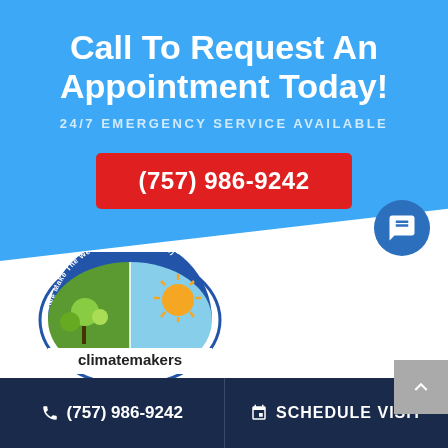Call To Request An Appointment Today!
24/7 EMERGENCY SERVICE AVAILABLE
(757) 986-9242
[Figure (logo): Climatemakers company logo — semicircular badge with slogan 'We Make The Weather Behave (Inside)' and imagery of sun/nature, with 'climatemakers' text below]
(757) 986-9242
SCHEDULE VISIT